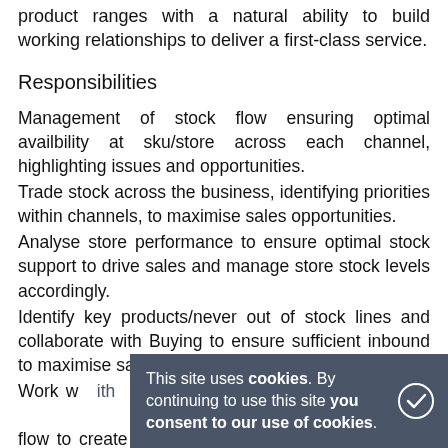product ranges with a natural ability to build working relationships to deliver a first-class service.
Responsibilities
Management of stock flow ensuring optimal availbility at sku/store across each channel, highlighting issues and opportunities.
Trade stock across the business, identifying priorities within channels, to maximise sales opportunities.
Analyse store performance to ensure optimal stock support to drive sales and manage store stock levels accordingly.
Identify key products/never out of stock lines and collaborate with Buying to ensure sufficient inbound to maximise sales potential.
Work with... effective planning an inbound/outbound stock flow to create a dynamic and ever-changing mix of product to create the best customer experience.
This site uses cookies. By continuing to use this site you consent to our use of cookies.